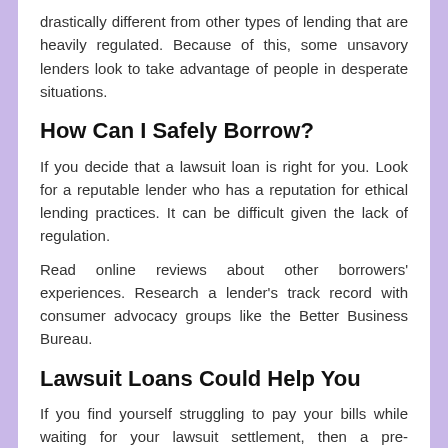drastically different from other types of lending that are heavily regulated. Because of this, some unsavory lenders look to take advantage of people in desperate situations.
How Can I Safely Borrow?
If you decide that a lawsuit loan is right for you. Look for a reputable lender who has a reputation for ethical lending practices. It can be difficult given the lack of regulation.
Read online reviews about other borrowers' experiences. Research a lender's track record with consumer advocacy groups like the Better Business Bureau.
Lawsuit Loans Could Help You
If you find yourself struggling to pay your bills while waiting for your lawsuit settlement, then a pre-settlement loan could help you. Taking out this type of loan can ease your stress by giving you an influx of emergency cash.
Check out our other informative articles that can help guide you through challenging times in your life.